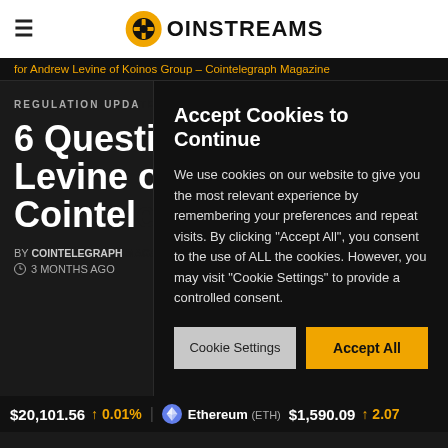COINSTREAMS
for Andrew Levine of Koinos Group – Cointelegraph Magazine
REGULATION UPDA...
6 Questi... Levine o... Cointelg...
BY COINTELEGRAPH... 3 MONTHS AGO
Accept Cookies to Continue
We use cookies on our website to give you the most relevant experience by remembering your preferences and repeat visits. By clicking "Accept All", you consent to the use of ALL the cookies. However, you may visit "Cookie Settings" to provide a controlled consent.
$20,101.56 ↑ 0.01% | Ethereum (ETH) $1,590.09 ↑ 2.07